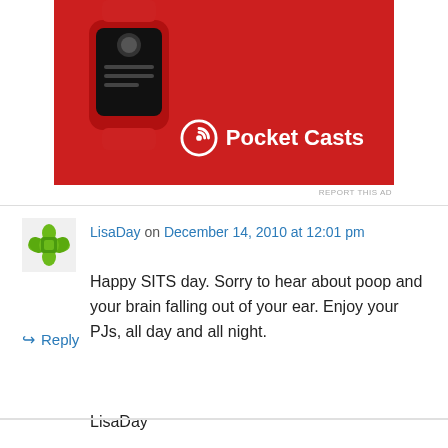[Figure (photo): Pocket Casts app advertisement showing a red smartwatch device on a red background with the Pocket Casts logo and text in white]
REPORT THIS AD
LisaDay on December 14, 2010 at 12:01 pm
Happy SITS day. Sorry to hear about poop and your brain falling out of your ear. Enjoy your PJs, all day and all night.

LisaDay
Like
👍 0 👎 0 ℹ️ Rate This
↪ Reply